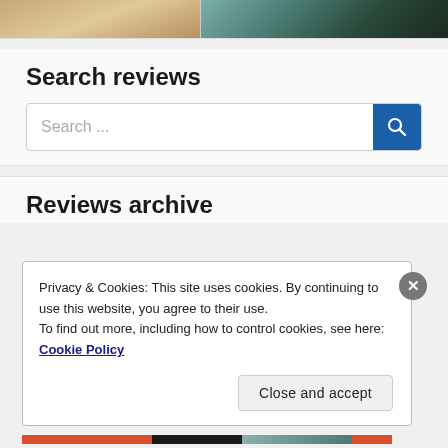[Figure (photo): Top banner with two partial images: left shows a blonde figure, right shows a dark abstract/nature image]
Search reviews
[Figure (screenshot): Search input box with placeholder text 'Search ...' and a blue search button with magnifying glass icon]
Reviews archive
Privacy & Cookies: This site uses cookies. By continuing to use this website, you agree to their use.
To find out more, including how to control cookies, see here: Cookie Policy
Close and accept